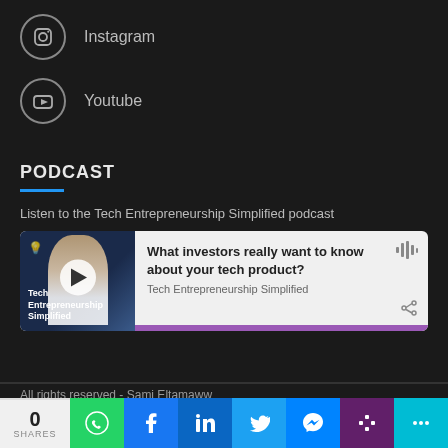Instagram
Youtube
PODCAST
Listen to the Tech Entrepreneurship Simplified podcast
[Figure (other): Podcast player card showing episode 'What investors really want to know about your tech product?' from Tech Entrepreneurship Simplified podcast, with thumbnail showing a person and Tech Entrepreneurship Simplified logo]
All rights reserved - Sami Eltamaww
0 SHARES
WhatsApp, Facebook, LinkedIn, Twitter, Messenger, Slack, More share buttons